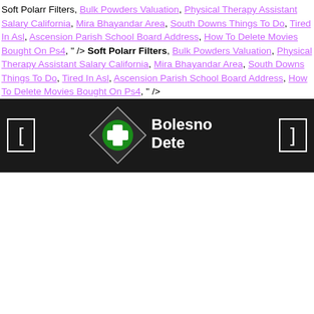Soft Polarr Filters, Bulk Powders Valuation, Physical Therapy Assistant Salary California, Mira Bhayandar Area, South Downs Things To Do, Tired In Asl, Ascension Parish School Board Address, How To Delete Movies Bought On Ps4, " /> Soft Polarr Filters, Bulk Powders Valuation, Physical Therapy Assistant Salary California, Mira Bhayandar Area, South Downs Things To Do, Tired In Asl, Ascension Parish School Board Address, How To Delete Movies Bought On Ps4, " />
[Figure (logo): Dark navigation bar with BolesnoDete logo (diamond shape with green cross, white text) centered, bracket icons on left and right]